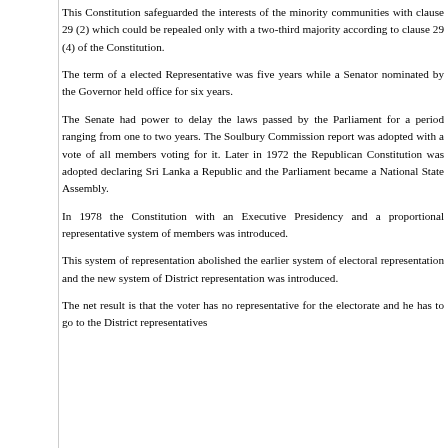This Constitution safeguarded the interests of the minority communities with clause 29 (2) which could be repealed only with a two-third majority according to clause 29 (4) of the Constitution.
The term of a elected Representative was five years while a Senator nominated by the Governor held office for six years.
The Senate had power to delay the laws passed by the Parliament for a period ranging from one to two years. The Soulbury Commission report was adopted with a vote of all members voting for it. Later in 1972 the Republican Constitution was adopted declaring Sri Lanka a Republic and the Parliament became a National State Assembly.
In 1978 the Constitution with an Executive Presidency and a proportional representative system of members was introduced.
This system of representation abolished the earlier system of electoral representation and the new system of District representation was introduced.
The net result is that the voter has no representative for the electorate and he has to go to the District representatives